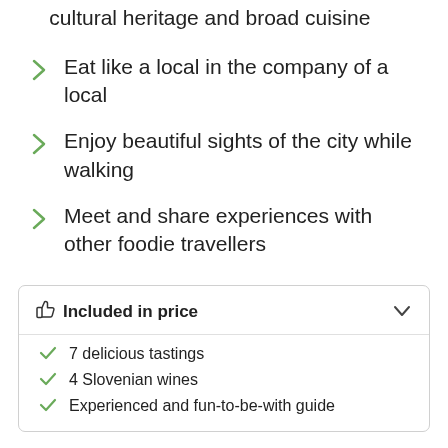cultural heritage and broad cuisine
Eat like a local in the company of a local
Enjoy beautiful sights of the city while walking
Meet and share experiences with other foodie travellers
Included in price
7 delicious tastings
4 Slovenian wines
Experienced and fun-to-be-with guide